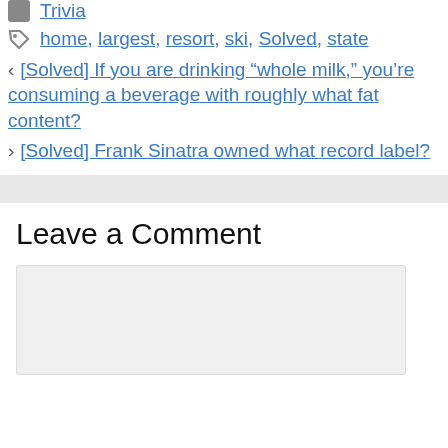Trivia
home, largest, resort, ski, Solved, state
< [Solved] If you are drinking “whole milk,” you’re consuming a beverage with roughly what fat content?
> [Solved] Frank Sinatra owned what record label?
Leave a Comment
[comment text area]